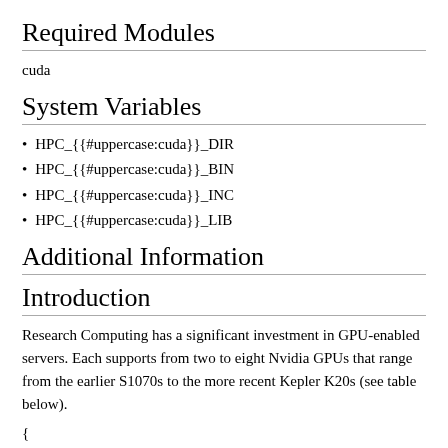Required Modules
cuda
System Variables
HPC_{{#uppercase:cuda}}_DIR
HPC_{{#uppercase:cuda}}_BIN
HPC_{{#uppercase:cuda}}_INC
HPC_{{#uppercase:cuda}}_LIB
Additional Information
Introduction
Research Computing has a significant investment in GPU-enabled servers. Each supports from two to eight Nvidia GPUs that range from the earlier S1070s to the more recent Kepler K20s (see table below).
{